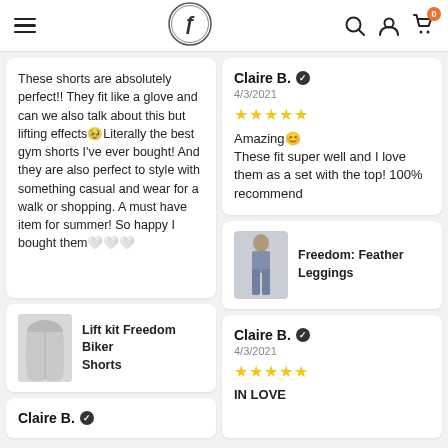Navigation header with menu, logo, search, account, and cart icons
These shorts are absolutely perfect!! They fit like a glove and can we also talk about this but lifting effects🥹 Literally the best gym shorts I've ever bought! And they are also perfect to style with something casual and wear for a walk or shopping. A must have item for summer! So happy I bought them🤍🤍🤍
Lift kit Freedom Biker Shorts
Claire B. ✔
4/3/2021
★★★★★
Amazing😊
These fit super well and I love them as a set with the top! 100% recommend
Freedom: Feather Leggings
Claire B. ✔
4/3/2021
★★★★★
IN LOVE
Claire B. ✔